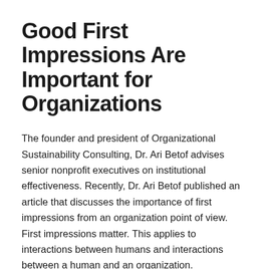Good First Impressions Are Important for Organizations
The founder and president of Organizational Sustainability Consulting, Dr. Ari Betof advises senior nonprofit executives on institutional effectiveness. Recently, Dr. Ari Betof published an article that discusses the importance of first impressions from an organization point of view. First impressions matter. This applies to interactions between humans and interactions between a human and an organization.
Continue reading →